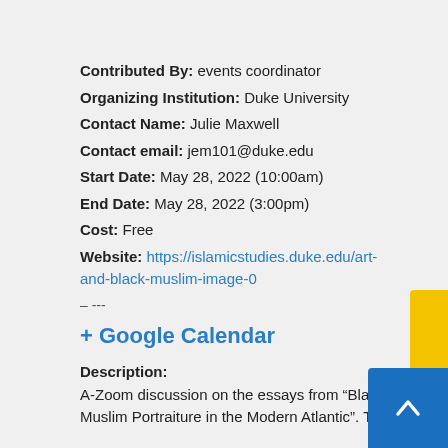Contributed By: events coordinator
Organizing Institution: Duke University
Contact Name: Julie Maxwell
Contact email: jem101@duke.edu
Start Date: May 28, 2022 (10:00am)
End Date: May 28, 2022 (3:00pm)
Cost: Free
Website: https://islamicstudies.duke.edu/art-and-black-muslim-image-0
– ---
+ Google Calendar
Description:
A-Zoom discussion on the essays from “Black Muslim Portraiture in the Modern Atlantic”. The